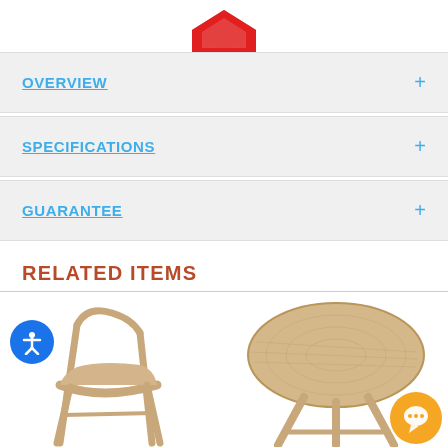[Figure (logo): Partial logo visible at top center — red geometric shape (bottom portion only visible)]
OVERVIEW
SPECIFICATIONS
GUARANTEE
RELATED ITEMS
[Figure (photo): Wooden folding chair with angular design on white background]
[Figure (photo): Wooden round coffee table with three angled legs on white background]